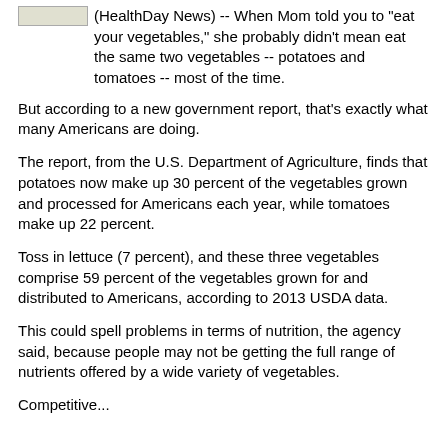(HealthDay News) -- When Mom told you to "eat your vegetables," she probably didn't mean eat the same two vegetables -- potatoes and tomatoes -- most of the time.
But according to a new government report, that's exactly what many Americans are doing.
The report, from the U.S. Department of Agriculture, finds that potatoes now make up 30 percent of the vegetables grown and processed for Americans each year, while tomatoes make up 22 percent.
Toss in lettuce (7 percent), and these three vegetables comprise 59 percent of the vegetables grown for and distributed to Americans, according to 2013 USDA data.
This could spell problems in terms of nutrition, the agency said, because people may not be getting the full range of nutrients offered by a wide variety of vegetables.
Competitive...